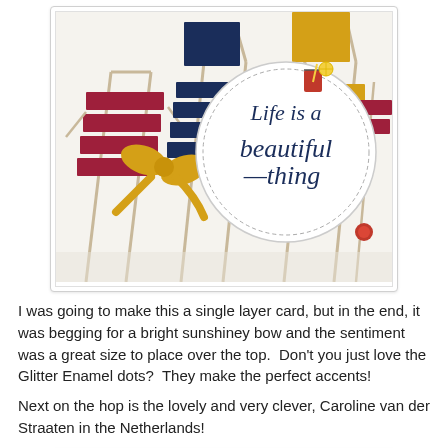[Figure (photo): Close-up of a handmade greeting card featuring colorful beach chairs in red, navy blue, and yellow, with a gold glitter bow and a circular white tag reading 'Life is a beautiful thing' in script lettering, decorated with glitter enamel dots.]
I was going to make this a single layer card, but in the end, it was begging for a bright sunshiney bow and the sentiment was a great size to place over the top.  Don't you just love the Glitter Enamel dots?  They make the perfect accents!
Next on the hop is the lovely and very clever, Caroline van der Straaten in the Netherlands!
[Figure (photo): Partially visible second photo at the bottom of the page, appearing to show another handmade card in black and white tones.]